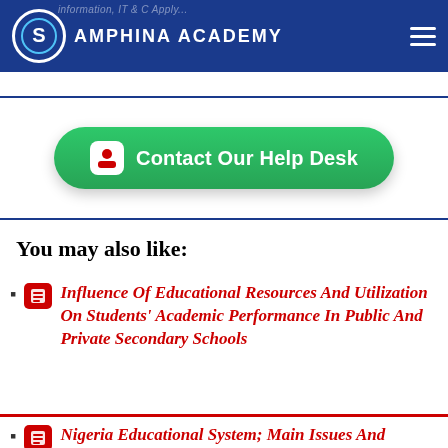Samphina Academy
[Figure (screenshot): Green rounded button labeled 'Contact Our Help Desk' with a person/user icon]
You may also like:
Influence Of Educational Resources And Utilization On Students' Academic Performance In Public And Private Secondary Schools
Nigeria Educational System; Main Issues And